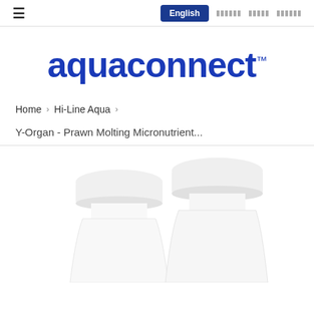≡  English  ██████  █████  ██████
[Figure (logo): aquaconnect™ logo in blue bold text with trademark symbol]
Home › Hi-Line Aqua ›
Y-Organ - Prawn Molting Micronutrient...
[Figure (photo): Two white plastic bottles with white caps, partially visible at bottom of page]